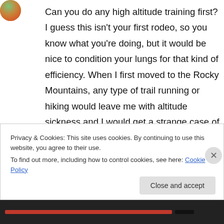[Figure (illustration): Circular avatar icon with colorful pattern in top-left corner]
Can you do any high altitude training first? I guess this isn't your first rodeo, so you know what you're doing, but it would be nice to condition your lungs for that kind of efficiency. When I first moved to the Rocky Mountains, any type of trail running or hiking would leave me with altitude sickness and I would get a strange case of the yawns. My lungs simply didn't know how to get enough air, and this altitude is much lower than the peaks you are planning to hike. I
Privacy & Cookies: This site uses cookies. By continuing to use this website, you agree to their use.
To find out more, including how to control cookies, see here: Cookie Policy